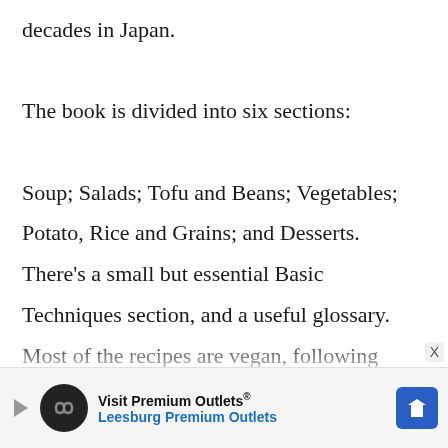decades in Japan.

The book is divided into six sections:

Soup; Salads; Tofu and Beans; Vegetables; Potato, Rice and Grains; and Desserts. There's a small but essential Basic Techniques section, and a useful glossary. Most of the recipes are vegan, following shojin ryori teachings, but a few do use dairy products, which are used in
[Figure (other): Advertisement banner for Visit Premium Outlets / Leesburg Premium Outlets with logo, play button, and arrow icon]